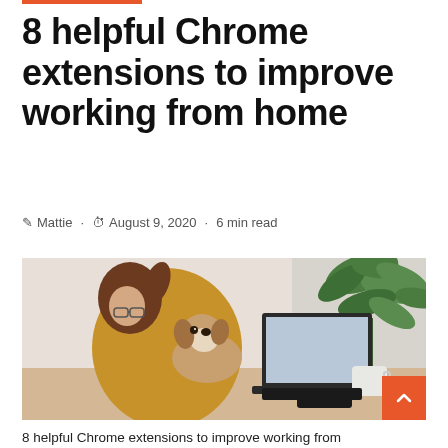8 helpful Chrome extensions to improve working from home
Mattie · August 9, 2020 · 6 min read
[Figure (photo): Woman in yellow sweater working on laptop at home desk while holding a small dog, with a green plant and white mug visible in the background]
8 helpful Chrome extensions to improve working from